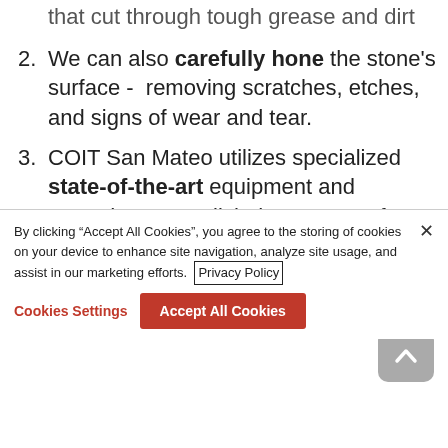We can also carefully hone the stone's surface - removing scratches, etches, and signs of wear and tear.
COIT San Mateo utilizes specialized state-of-the-art equipment and procedures to polish the stone surface to a desired shine
We then seal and buff the surface to protect against future staining.
By clicking “Accept All Cookies”, you agree to the storing of cookies on your device to enhance site navigation, analyze site usage, and assist in our marketing efforts. Privacy Policy
Cookies Settings | Accept All Cookies